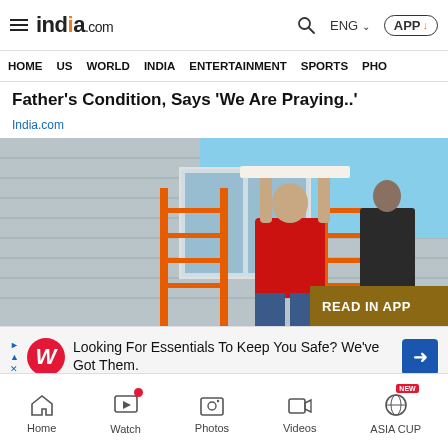india.com — ENG — APP
HOME  US  WORLD  INDIA  ENTERTAINMENT  SPORTS  PHO
Father's Condition, Says 'We Are Praying..'
India.com
[Figure (photo): Person in red shirt working on exterior of house with orange ladder, reaching up to install something above a window]
READ IN APP
Looking For Essentials To Keep You Safe? We've Got Them.
Home  Watch  Photos  Videos  ASIA CUP